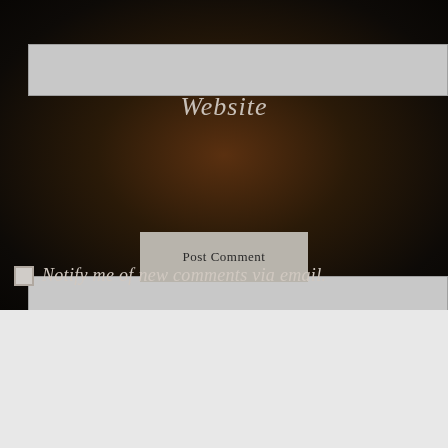[Figure (screenshot): Website URL input field on dark background]
Website
[Figure (screenshot): Text area input field on dark background]
Post Comment
Notify me of new comments via email.
Advertisements
[Figure (infographic): DuckDuckGo advertisement banner: Search, browse, and email with more privacy. All in One Free App. Shows phone with DuckDuckGo logo.]